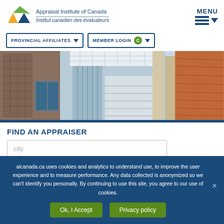[Figure (logo): Appraisal Institute of Canada logo with orange and green triangular shapes]
Appraisal Institute of Canada
Institut canadien des évaluateurs
MENU
PROVINCIAL AFFILIATES
MEMBER LOGIN
[Figure (photo): Interior of a modern building with glass walls, staircases, columns, and wood paneling]
FIND AN APPRAISER
city
aicanada.ca uses cookies and analytics to understand use, to improve the user experience and to measure performance. Any data collected is anonymized so we can't identify you personally. By continuing to use this site, you agree to our use of cookies.
Ok, I Accept
Privacy policy